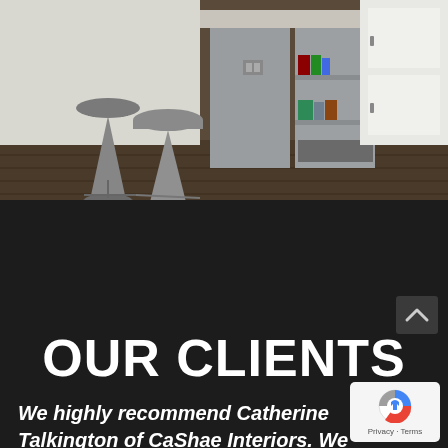[Figure (photo): Kitchen interior with metallic bar stools next to a gray kitchen island with open shelving containing books and items; white cabinetry visible in the background on dark hardwood floors]
OUR CLIENTS
We highly recommend Catherine Talkington of CaShae Interiors. We
[Figure (logo): Google reCAPTCHA badge with blue and red circular logo and Privacy - Terms text below]